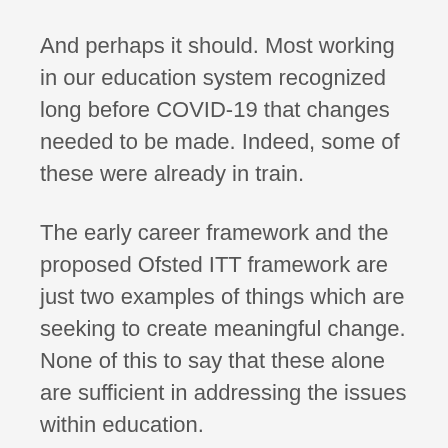And perhaps it should. Most working in our education system recognized long before COVID-19 that changes needed to be made. Indeed, some of these were already in train.
The early career framework and the proposed Ofsted ITT framework are just two examples of things which are seeking to create meaningful change. None of this to say that these alone are sufficient in addressing the issues within education.
We know, for example, that the pressure of accountability has not gone away because of the changes Ofsted has brought in – there are good